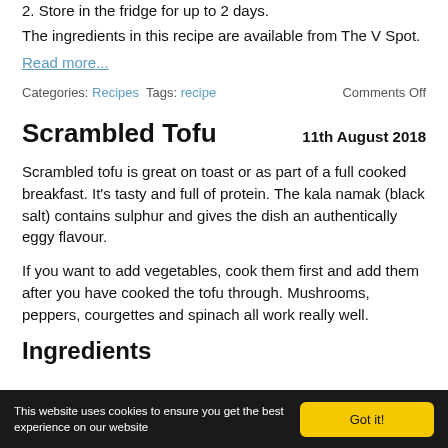2. Store in the fridge for up to 2 days.
The ingredients in this recipe are available from The V Spot.
Read more...
Categories: Recipes  Tags: recipe   Comments Off
Scrambled Tofu
11th August 2018
Scrambled tofu is great on toast or as part of a full cooked breakfast. It's tasty and full of protein. The kala namak (black salt) contains sulphur and gives the dish an authentically eggy flavour.
If you want to add vegetables, cook them first and add them after you have cooked the tofu through. Mushrooms, peppers, courgettes and spinach all work really well.
Ingredients
This website uses cookies to ensure you get the best experience on our website